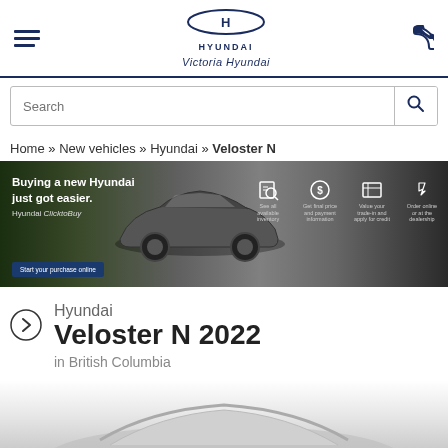Victoria Hyundai
Search
Home » New vehicles » Hyundai » Veloster N
[Figure (photo): Hyundai ClickToBuy promotional banner showing a grey Hyundai SUV with text 'Buying a new Hyundai just got easier. Hyundai ClickToBuy' and icons for See all available inventory, Get final price and payment information, Value your trade-in and apply for credit, Order online or at the dealership. Blue button: Start your purchase online.]
Hyundai Veloster N 2022
in British Columbia